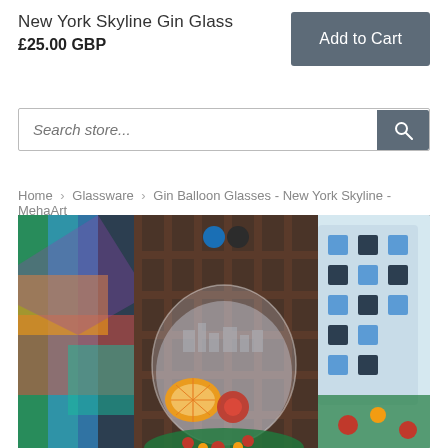New York Skyline Gin Glass
£25.00 GBP
Add to Cart
Search store...
Home › Glassware › Gin Balloon Glasses - New York Skyline - MehaArt
[Figure (photo): A gin balloon glass filled with a clear drink, garnished with an orange slice and raspberries, surrounded by Christmas decorations including a festive wreath, colorful gift wrap on the left, and a patterned bag on the right. Two navigation dots (blue and dark) are visible near the top center of the image.]